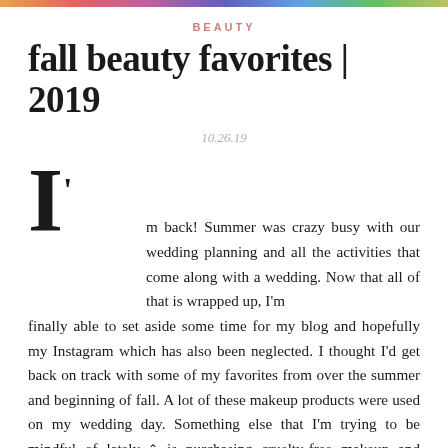BEAUTY
fall beauty favorites | 2019
10.26.19
I'm back! Summer was crazy busy with our wedding planning and all the activities that come along with a wedding. Now that all of that is wrapped up, I'm finally able to set aside some time for my blog and hopefully my Instagram which has also been neglected. I thought I'd get back on track with some of my favorites from over the summer and beginning of fall. A lot of these makeup products were used on my wedding day. Something else that I'm trying to be mindful of lately is purchasing cruelty-free makeup and beauty products. I'm not 100% CF yet, but I'm taking steps to get there. The...